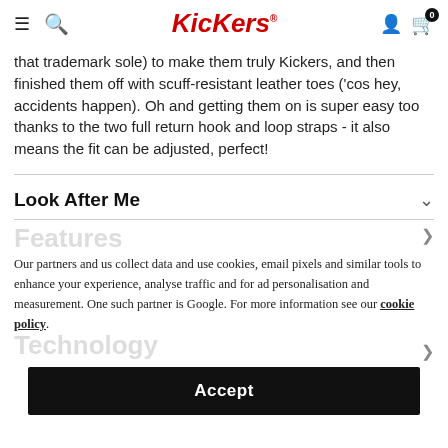Kickers [navigation header with hamburger, search, account, cart icons]
that trademark sole) to make them truly Kickers, and then finished them off with scuff-resistant leather toes ('cos hey, accidents happen). Oh and getting them on is super easy too thanks to the two full return hook and loop straps - it also means the fit can be adjusted, perfect!
Look After Me
Our partners and us collect data and use cookies, email pixels and similar tools to enhance your experience, analyse traffic and for ad personalisation and measurement. One such partner is Google. For more information see our cookie policy.
Accept